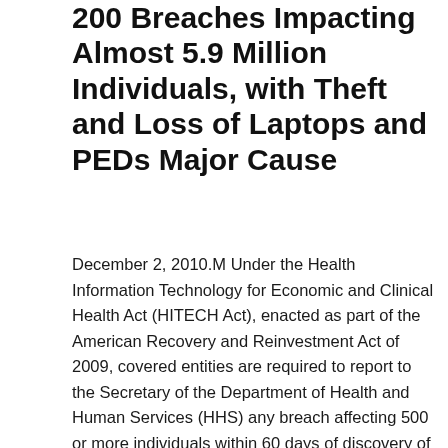200 Breaches Impacting Almost 5.9 Million Individuals, with Theft and Loss of Laptops and PEDs Major Cause
December 2, 2010.M Under the Health Information Technology for Economic and Clinical Health Act (HITECH Act), enacted as part of the American Recovery and Reinvestment Act of 2009, covered entities are required to report to the Secretary of the Department of Health and Human Services (HHS) any breach affecting 500 or more individuals within 60 days of discovery of the breach by the covered entity or its business associate.  The HHS Office for Civil Rights (OCR), which is responsible for HIPAA privacy and security enforcement,  is required to post these HIPAA privacy or security breaches on its Web site (please note that this URL is a change from the initial...